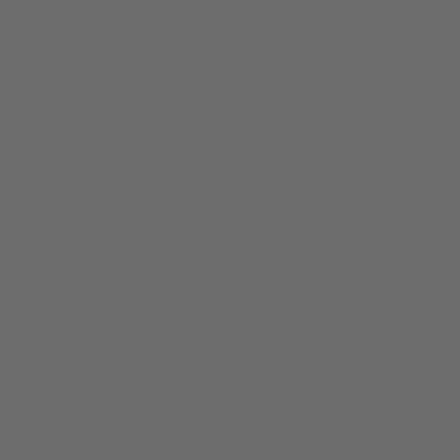Well Beginnings G...
Well Beginnings G...
Well Beginnings G...
Well Beginnings In...
Well Beginnings In...
Well Beginnings In...
Well Beginnings In...
Well Beginnings In...
Well Beginnings Na...
Well Beginnings N...
Well Beginnings Pr...
Well Beginnings Pr...
Well Beginnings Pr...
Well Beginnings Pr...
Well Beginnings Pr...
Well Beginnings Pr...
Well Beginnings Pr...
Well Beginnings Pr...
Well Beginnings Pr...
Well Beginnings Pr...
Well Beginnings Pr...
Well Beginnings Pr...
Well Beginnings So...
Well Beginnings So...